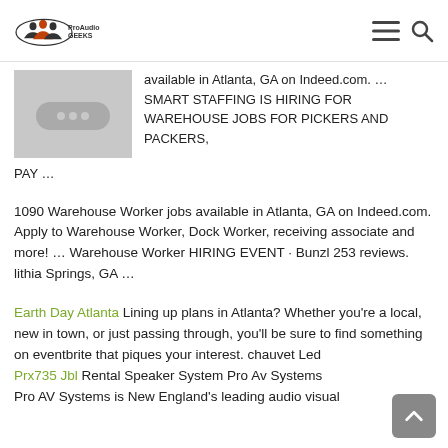ProAudioGEEKS
[Figure (screenshot): Thumbnail image placeholder with two horizontal dots on grey background]
available in Atlanta, GA on Indeed.com. … SMART STAFFING IS HIRING FOR WAREHOUSE JOBS FOR PICKERS AND PACKERS, PAY …
1090 Warehouse Worker jobs available in Atlanta, GA on Indeed.com. Apply to Warehouse Worker, Dock Worker, receiving associate and more! … Warehouse Worker HIRING EVENT · Bunzl 253 reviews. lithia Springs, GA …
Earth Day Atlanta Lining up plans in Atlanta? Whether you're a local, new in town, or just passing through, you'll be sure to find something on eventbrite that piques your interest. chauvet Led Prx735 Jbl Rental Speaker System Pro Av Systems Pro AV Systems is New England's leading audio visual